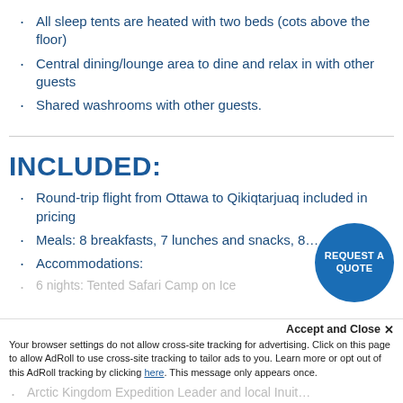All sleep tents are heated with two beds (cots above the floor)
Central dining/lounge area to dine and relax in with other guests
Shared washrooms with other guests.
INCLUDED:
Round-trip flight from Ottawa to Qikiqtarjuaq included in pricing
Meals: 8 breakfasts, 7 lunches and snacks, 8…
Accommodations:
6 nights: Tented Safari Camp on Ice
REQUEST A QUOTE
Accept and Close ×
Your browser settings do not allow cross-site tracking for advertising. Click on this page to allow AdRoll to use cross-site tracking to tailor ads to you. Learn more or opt out of this AdRoll tracking by clicking here. This message only appears once.
Arctic Kingdom Expedition Leader and local Inuit…